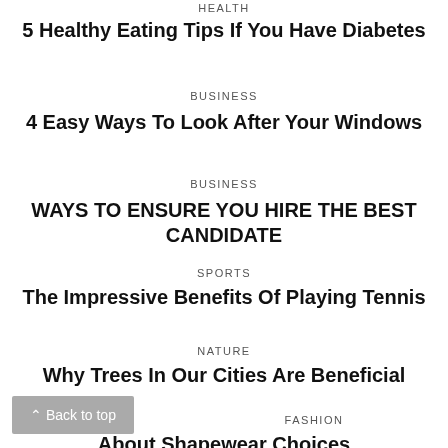HEALTH
5 Healthy Eating Tips If You Have Diabetes
BUSINESS
4 Easy Ways To Look After Your Windows
BUSINESS
WAYS TO ENSURE YOU HIRE THE BEST CANDIDATE
SPORTS
The Impressive Benefits Of Playing Tennis
NATURE
Why Trees In Our Cities Are Beneficial
FASHION
About Shapewear Choices